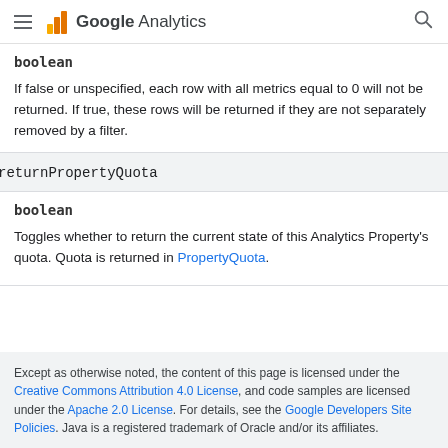Google Analytics
boolean
If false or unspecified, each row with all metrics equal to 0 will not be returned. If true, these rows will be returned if they are not separately removed by a filter.
returnPropertyQuota
boolean
Toggles whether to return the current state of this Analytics Property's quota. Quota is returned in PropertyQuota.
Except as otherwise noted, the content of this page is licensed under the Creative Commons Attribution 4.0 License, and code samples are licensed under the Apache 2.0 License. For details, see the Google Developers Site Policies. Java is a registered trademark of Oracle and/or its affiliates.